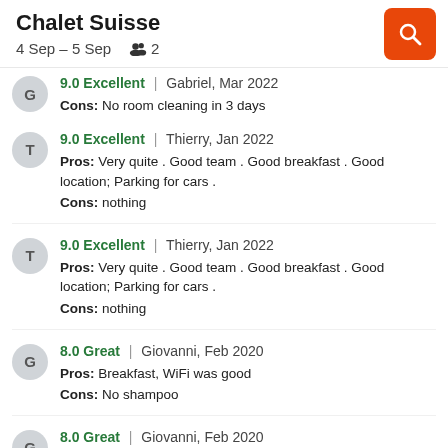Chalet Suisse
4 Sep – 5 Sep   2
9.0 Excellent | Gabriel, Mar 2022
Cons: No room cleaning in 3 days
9.0 Excellent | Thierry, Jan 2022
Pros: Very quite . Good team . Good breakfast . Good location; Parking for cars .
Cons: nothing
9.0 Excellent | Thierry, Jan 2022
Pros: Very quite . Good team . Good breakfast . Good location; Parking for cars .
Cons: nothing
8.0 Great | Giovanni, Feb 2020
Pros: Breakfast, WiFi was good
Cons: No shampoo
8.0 Great | Giovanni, Feb 2020
Pros: Breakfast, WiFi was good
Cons: No shampoo